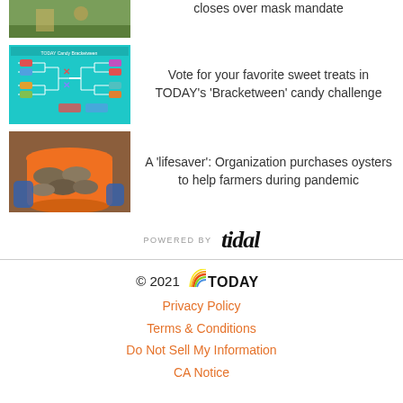[Figure (photo): Thumbnail image partially visible at top, outdoor scene]
closes over mask mandate
[Figure (screenshot): TODAY Candy Bracketween bracket challenge game board with colorful candy icons on teal background]
Vote for your favorite sweet treats in TODAY's 'Bracketween' candy challenge
[Figure (photo): Person holding orange bucket filled with oysters]
A 'lifesaver': Organization purchases oysters to help farmers during pandemic
POWERED BY tidal
© 2021 TODAY
Privacy Policy
Terms & Conditions
Do Not Sell My Information
CA Notice